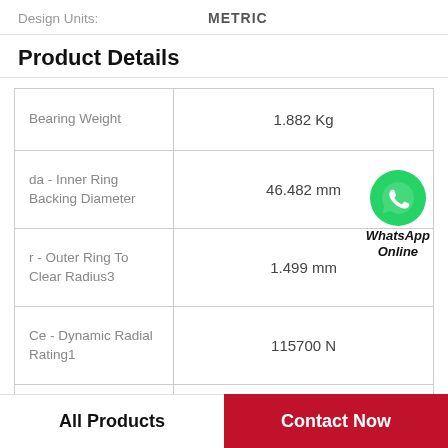Design Units: METRIC
Product Details
| Property | Value |
| --- | --- |
| Bearing Weight | 1.882 Kg |
| da - Inner Ring Backing Diameter | 46.482 mm |
| r - Outer Ring To Clear Radius3 | 1.499 mm |
| Ce - Dynamic Radial Rating1 | 115700 N |
| D | 100 mm |
[Figure (logo): WhatsApp Online logo with green phone icon and italic bold text 'WhatsApp Online']
All Products    Contact Now